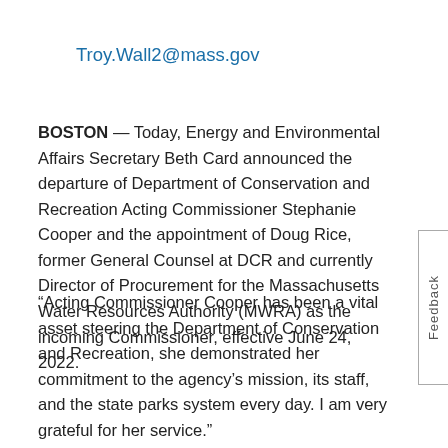Troy.Wall2@mass.gov
BOSTON — Today, Energy and Environmental Affairs Secretary Beth Card announced the departure of Department of Conservation and Recreation Acting Commissioner Stephanie Cooper and the appointment of Doug Rice, former General Counsel at DCR and currently Director of Procurement for the Massachusetts Water Resources Authority (MWRA) as the incoming Commissioner, effective June 24, 2022.
“Acting Commissioner Cooper has been a vital asset steering the Department of Conservation and Recreation, she demonstrated her commitment to the agency’s mission, its staff, and the state parks system every day. I am very grateful for her service.”